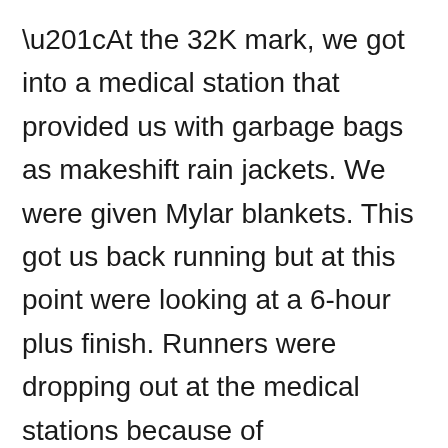“At the 32K mark, we got into a medical station that provided us with garbage bags as makeshift rain jackets. We were given Mylar blankets. This got us back running but at this point were looking at a 6-hour plus finish. Runners were dropping out at the medical stations because of hypothermia. I was looking at my first DNF (did not finish) marathon. It was at this point that we decided to get back on track with the Galloway run-walk strategy and sing our way along for the next 10k.